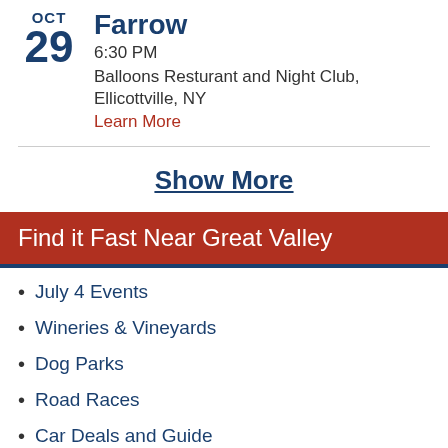Farrow
OCT 29
6:30 PM
Balloons Resturant and Night Club, Ellicottville, NY
Learn More
Show More
Find it Fast Near Great Valley
July 4 Events
Wineries & Vineyards
Dog Parks
Road Races
Car Deals and Guide